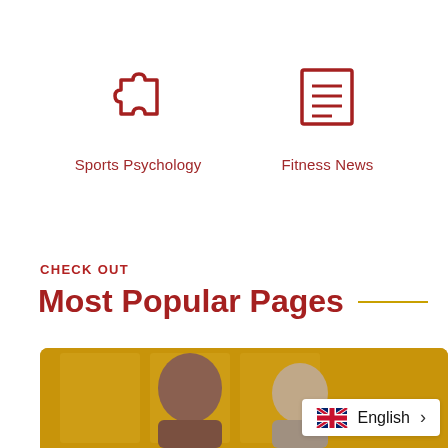[Figure (illustration): Puzzle piece icon in dark red outline style]
Sports Psychology
[Figure (illustration): Document/news icon with lines in dark red outline style]
Fitness News
CHECK OUT
Most Popular Pages
[Figure (photo): Two people (older man and woman) in front of yellow door, with English language selector pill overlay showing UK flag, text 'English' and a right chevron]